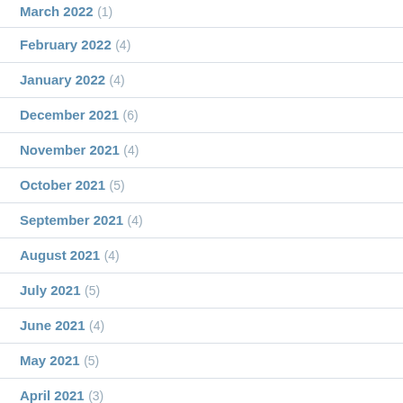March 2022 (1)
February 2022 (4)
January 2022 (4)
December 2021 (6)
November 2021 (4)
October 2021 (5)
September 2021 (4)
August 2021 (4)
July 2021 (5)
June 2021 (4)
May 2021 (5)
April 2021 (3)